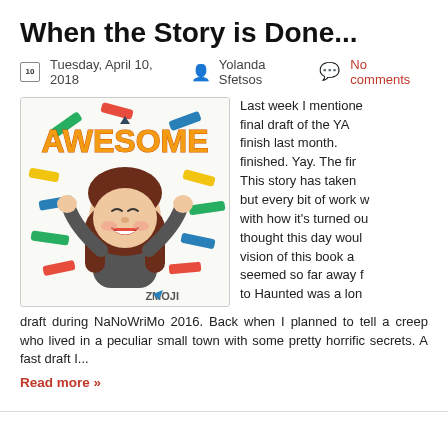When the Story is Done...
Tuesday, April 10, 2018  Yolanda Sfetsos  No comments
[Figure (illustration): A cartoon bitmoji-style illustration of a woman with long brown hair, cheering with both fists raised, surrounded by colorful confetti streaks. The word AWESOME appears in large yellow/orange 3D letters at the top. The ZMOJI logo appears at the bottom right.]
Last week I mentioned I'd submitted the final draft of the YA book I managed to finish last month. Well, it's officially finished. Yay. The first draft anyway. This story has taken a long time to write, but every bit of work was worth it. Happy with how it's turned out, even though I thought this day would never come. The vision of this book and this story seemed so far away for so long. The sequel to Haunted was a long time coming. I fast draft during NaNoWriMo 2016. Back when I planned to tell a creep who lived in a peculiar small town with some pretty horrific secrets. A fast draft I...
Read more »